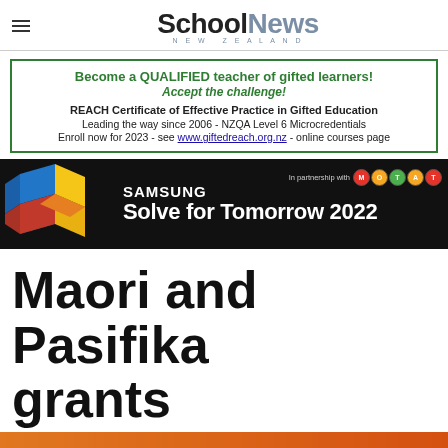School News NEW ZEALAND
[Figure (infographic): Advertisement: Become a QUALIFIED teacher of gifted learners! REACH Certificate of Effective Practice in Gifted Education. Green bordered box.]
[Figure (infographic): Samsung Solve for Tomorrow 2022 advertisement banner with colorful 3D cubes on black background, in partnership with MOTAT.]
Maori and Pasifika grants